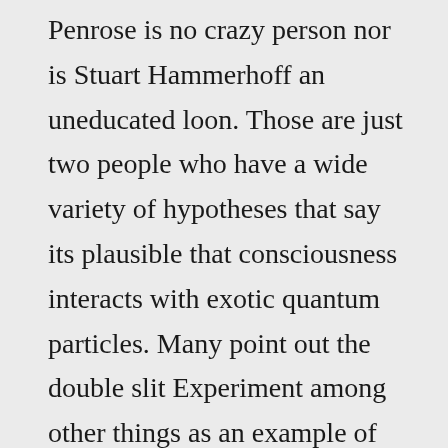Penrose is no crazy person nor is Stuart Hammerhoff an uneducated loon. Those are just two people who have a wide variety of hypotheses that say its plausible that consciousness interacts with exotic quantum particles. Many point out the double slit Experiment among other things as an example of what might be. Nobody knows what is as of yet but to call legitimate scientists mystics for saying maybe is just unfair. In the end you and scientists like you might indeed be right but until its proven please give all legitimate scientists the same